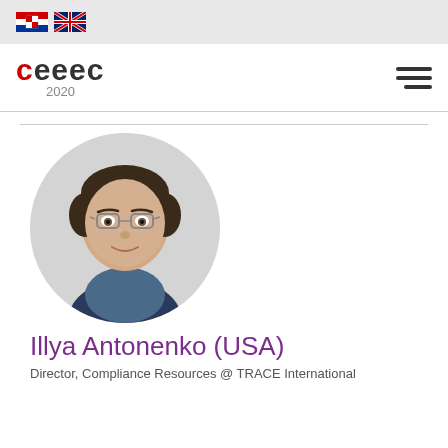[Figure (other): Croatian and UK flag icons in top bar]
[Figure (logo): CEEEC 2020 conference logo with red C and hamburger menu]
[Figure (photo): Headshot portrait of Illya Antonenko, a man with glasses wearing a dark suit and blue shirt, circular crop]
Illya Antonenko (USA)
Director, Compliance Resources @ TRACE International